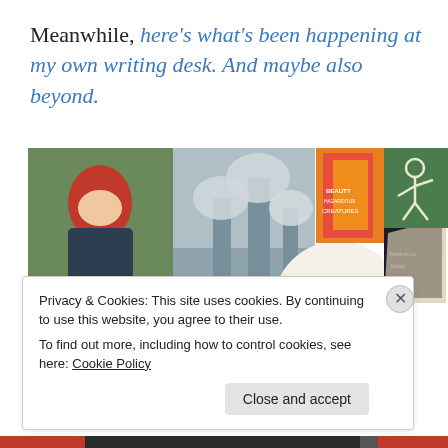Meanwhile, here's what's been happening at my own writing desk. And maybe also beyond.
[Figure (photo): A collage of photos including a woman with red hair, industrial smokestacks, a signed book, colorful book covers, a dark booklet, a map, and a chalk figure on a hillside. Also includes a London Review of Books magazine cover.]
Privacy & Cookies: This site uses cookies. By continuing to use this website, you agree to their use.
To find out more, including how to control cookies, see here: Cookie Policy
Close and accept